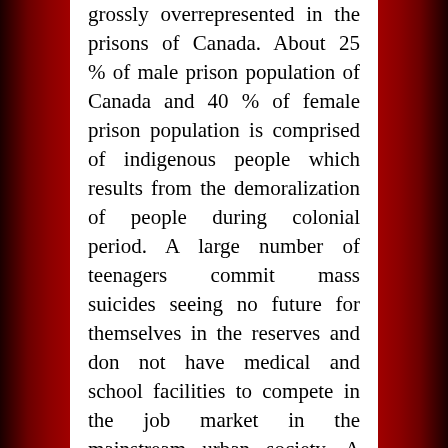grossly overrepresented in the prisons of Canada. About 25 % of male prison population of Canada and 40 % of female prison population is comprised of indigenous people which results from the demoralization of people during colonial period. A large number of teenagers commit mass suicides seeing no future for themselves in the reserves and don not have medical and school facilities to compete in the job market in the mainstream urban society. A significant number of native women go missing or are found dead who disproportionate